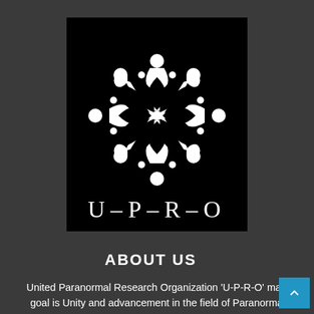[Figure (logo): UPRO logo: white snowflake/cross symbol made of stylized human figures arranged in a radial pattern on black background, with text 'U-P-R-O' below in spaced serif letters]
ABOUT US
United Paranormal Research Organization 'U-P-R-O' main goal is Unity and advancement in the field of Paranormal